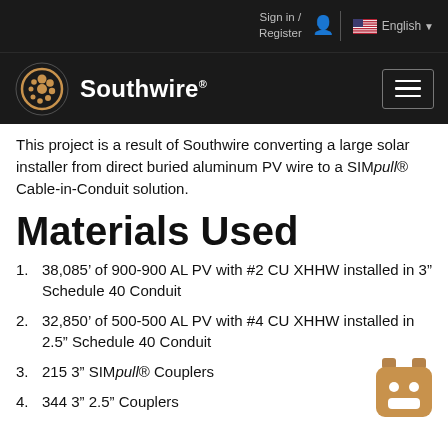Sign in / Register  |  English
[Figure (logo): Southwire logo with decorative circular emblem on dark background with hamburger menu icon]
This project is a result of Southwire converting a large solar installer from direct buried aluminum PV wire to a SIMpull® Cable-in-Conduit solution.
Materials Used
38,085' of 900-900 AL PV with #2 CU XHHW installed in 3" Schedule 40 Conduit
32,850' of 500-500 AL PV with #4 CU XHHW installed in 2.5" Schedule 40 Conduit
215 3" SIMpull® Couplers
344 3" 2.5" Couplers